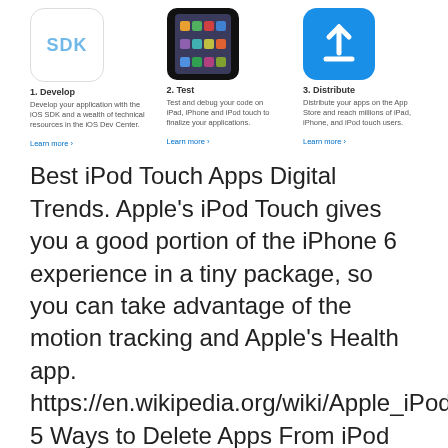[Figure (screenshot): Three-step developer workflow: 1. Develop (SDK icon), 2. Test (iPhone screenshot), 3. Distribute (App Store icon) with descriptions and Learn more links]
Best iPod Touch Apps Digital Trends. Apple's iPod Touch gives you a good portion of the iPhone 6 experience in a tiny package, so you can take advantage of the motion tracking and Apple's Health app. https://en.wikipedia.org/wiki/Apple_iPod_Touch 5 Ways to Delete Apps From iPod touch Share Pin Apple remembers all ICloud saves information on everything you buy from the iTunes Store and App Store,.
[Figure (photo): Broken image placeholder with alt text: apple store application gratuite ipod touch]